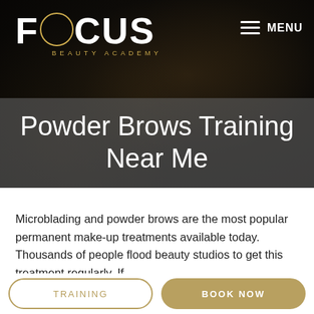[Figure (logo): Focus Beauty Academy logo in white text on dark background]
MENU
Powder Brows Training Near Me
Microblading and powder brows are the most popular permanent make-up treatments available today. Thousands of people flood beauty studios to get this treatment regularly. If
TRAINING
BOOK NOW